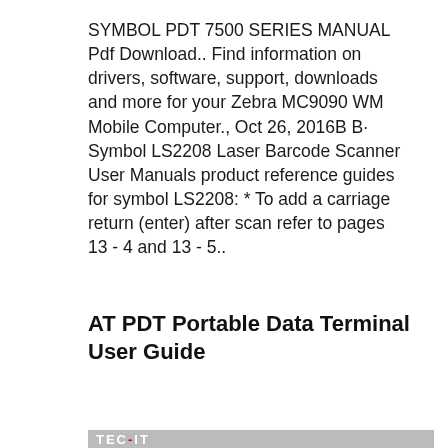SYMBOL PDT 7500 SERIES MANUAL Pdf Download.. Find information on drivers, software, support, downloads and more for your Zebra MC9090 WM Mobile Computer., Oct 26, 2016B B· Symbol LS2208 Laser Barcode Scanner User Manuals product reference guides for symbol LS2208: * To add a carriage return (enter) after scan refer to pages 13 - 4 and 13 - 5..
AT PDT Portable Data Terminal User Guide
[Figure (screenshot): Video thumbnail showing TEC-IT logo (red circle with white text 'TEC-IT') on black background with title 'Using Bluetooth Barcode S...' and three-dot menu icon, with a partial banner showing 'TEC-IT' text below.]